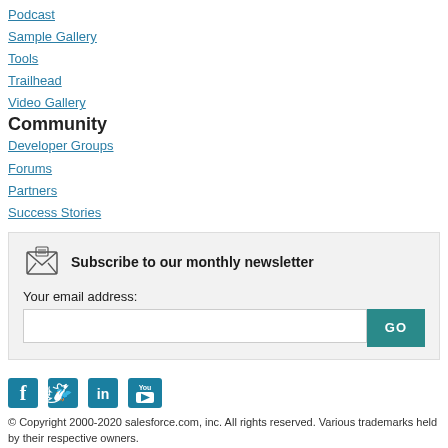Podcast
Sample Gallery
Tools
Trailhead
Video Gallery
Community
Developer Groups
Forums
Partners
Success Stories
[Figure (infographic): Newsletter subscription box with envelope icon, title 'Subscribe to our monthly newsletter', email input field, and GO button]
[Figure (infographic): Social media icons: Facebook, Twitter, LinkedIn, YouTube in teal color]
© Copyright 2000-2020 salesforce.com, inc. All rights reserved. Various trademarks held by their respective owners.